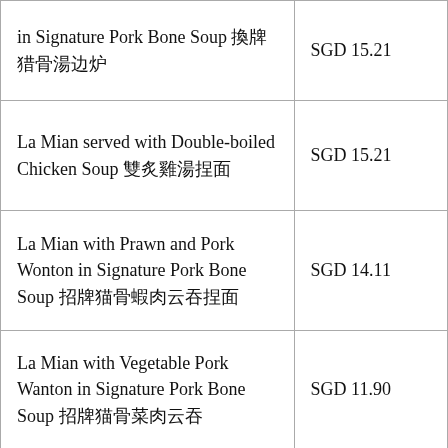| Item | Price |
| --- | --- |
| in Signature Pork Bone Soup 招牌猪骨汤 | SGD 15.21 |
| La Mian served with Double-boiled Chicken Soup 双炖鸡汤捞面 | SGD 15.21 |
| La Mian with Prawn and Pork Wonton in Signature Pork Bone Soup 招牌猪骨虾肉云吞捞面 | SGD 14.11 |
| La Mian with Vegetable Pork Wanton in Signature Pork Bone Soup 招牌猪骨菜肉云吞 | SGD 11.90 |
| La Mian with Sliced Kurobuta Pork in Signature Pork Bone Soup | SGD 15.21 |